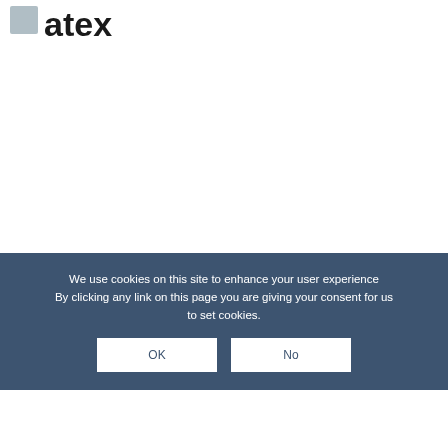[Figure (logo): atex logo — grey square icon to the left of bold lowercase 'atex' text in dark/black color]
We use cookies on this site to enhance your user experience By clicking any link on this page you are giving your consent for us to set cookies.
OK
No